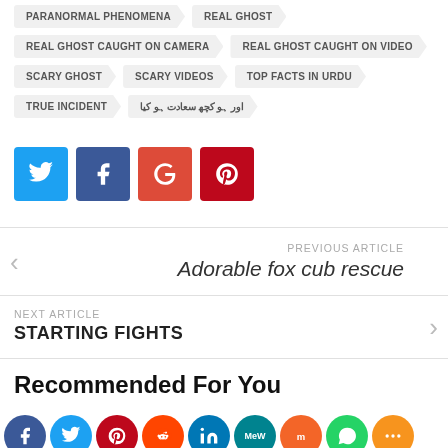PARANORMAL PHENOMENA
REAL GHOST
REAL GHOST CAUGHT ON CAMERA
REAL GHOST CAUGHT ON VIDEO
SCARY GHOST
SCARY VIDEOS
TOP FACTS IN URDU
TRUE INCIDENT
اردو میں بہترین حقائق
[Figure (infographic): Social share buttons: Twitter (blue), Facebook (dark blue), Google+ (red), Pinterest (crimson)]
PREVIOUS ARTICLE
Adorable fox cub rescue
NEXT ARTICLE
STARTING FIGHTS
Recommended For You
[Figure (infographic): Social share circles: Facebook, Twitter, Pinterest, Reddit, LinkedIn, MeWe, Mix, WhatsApp, More]